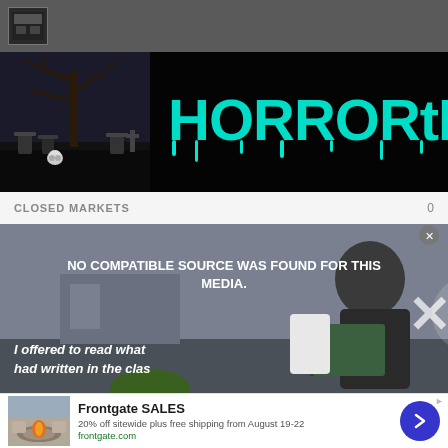[Figure (logo): Small HorrorTree favicon/logo icon in grey top navigation bar]
[Figure (illustration): HorrorTree website banner: dark/black background with spooky graveyard scene on left (bare tree, gravestones), large dripping horror-style white text reading HORRORTREE on right]
CLOSED MARKETS 0
[Figure (screenshot): Video player showing error message 'NO COMPATIBLE SOURCE WAS FOUND FOR THIS MEDIA.' overlaid on a scene of a woman reading a book. Subtitle text reads 'I offered to read what had written in the clas'. An X icon appears over the video.]
[Figure (other): Advertisement for Frontgate SALES: '20% off sitewide plus free shipping from August 19-22', frontgate.com, with product image of outdoor fire pit furniture and a blue circular CTA button with right arrow.]